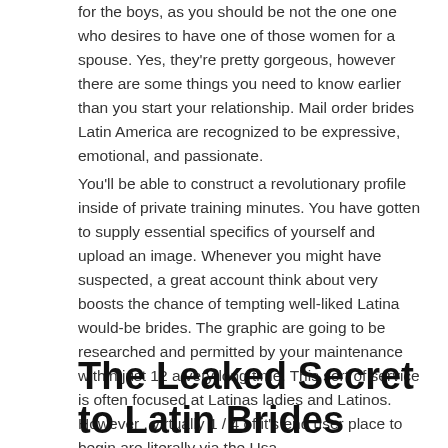for the boys, as you should be not the one one who desires to have one of those women for a spouse. Yes, they're pretty gorgeous, however there are some things you need to know earlier than you start your relationship. Mail order brides Latin America are recognized to be expressive, emotional, and passionate.
You'll be able to construct a revolutionary profile inside of private training minutes. You have gotten to supply essential specifics of yourself and upload an image. Whenever you might have suspected, a great account think about very boosts the chance of tempting well-liked Latina would-be brides. The graphic are going to be researched and permitted by your maintenance within just 12 a very long time. This sort of service is often focused at Latinas ladies and Latinos. However , virtually 1 / 4 of it's end user place to begin are literally via the Usa.
The Leaked Secret to Latin Brides Discovered